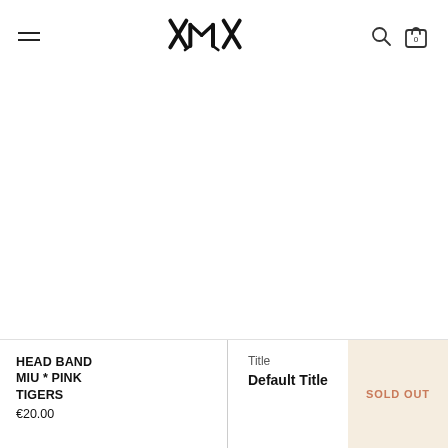HEAD BAND MIU * PINK TIGERS — e-commerce product page header with hamburger menu, logo, search icon, and cart (0)
[Figure (logo): Stylized cat/tiger logo made of X and M shapes in black]
[Figure (photo): Large white/empty product image area]
HEAD BAND MIU * PINK TIGERS
€20.00
Title
Default Title
SOLD OUT